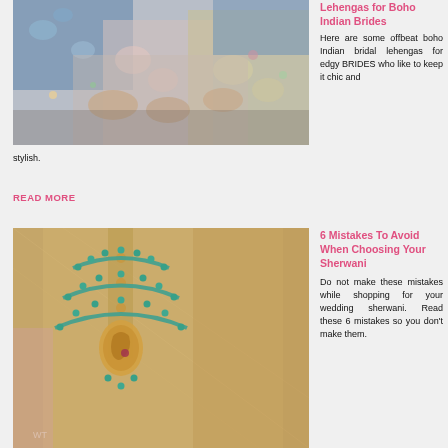[Figure (photo): Two women sitting together wearing floral and blue lehengas]
Lehengas for Boho Indian Brides
Here are some offbeat boho Indian bridal lehengas for edgy BRIDES who like to keep it chic and stylish.
READ MORE
[Figure (photo): Close-up of a groom wearing a beige sherwani with teal beaded necklace]
6 Mistakes To Avoid When Choosing Your Sherwani
Do not make these mistakes while shopping for your wedding sherwani. Read these 6 mistakes so you don't make them.